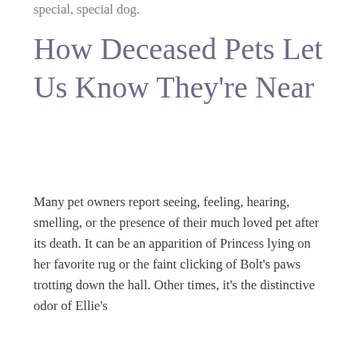special, special dog.
How Deceased Pets Let Us Know They're Near
Many pet owners report seeing, feeling, hearing, smelling, or the presence of their much loved pet after its death. It can be an apparition of Princess lying on her favorite rug or the faint clicking of Bolt's paws trotting down the hall. Other times, it's the distinctive odor of Ellie's